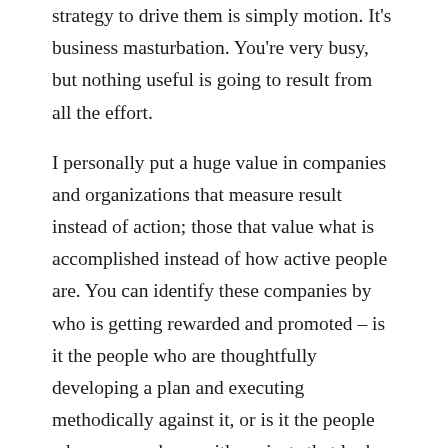strategy to drive them is simply motion. It's business masturbation. You're very busy, but nothing useful is going to result from all the effort.
I personally put a huge value in companies and organizations that measure result instead of action; those that value what is accomplished instead of how active people are. You can identify these companies by who is getting rewarded and promoted – is it the people who are thoughtfully developing a plan and executing methodically against it, or is it the people who are very busy with projects that look good, but drive no real measurable advancement toward the vision?
As a Product Management professional I feel strongly that my value is in being able to define a product vision and set of strategies that will advance that vision...